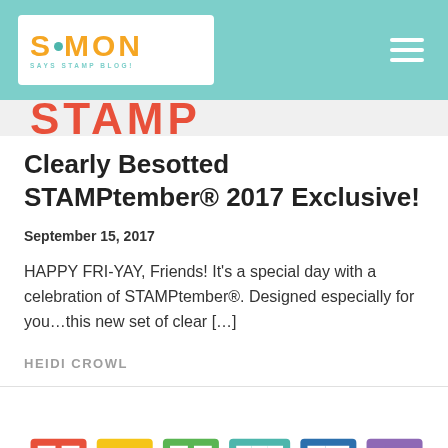Simon Says Stamp Blog
Clearly Besotted STAMPtember® 2017 Exclusive!
September 15, 2017
HAPPY FRI-YAY, Friends! It's a special day with a celebration of STAMPtember®. Designed especially for you…this new set of clear […]
HEIDI CROWL
[Figure (illustration): Colorful block letters spelling STAMP with trophy/goblet shaped letters in orange, yellow, green, teal, blue, and purple rainbow colors]